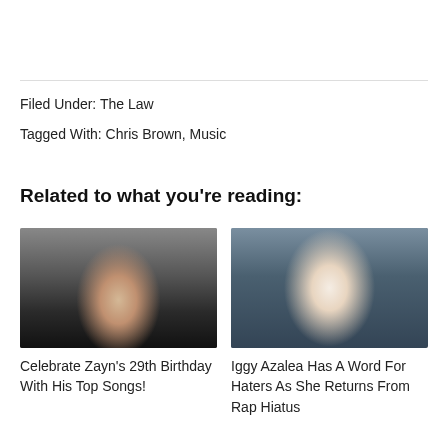Filed Under: The Law
Tagged With: Chris Brown, Music
Related to what you're reading:
[Figure (photo): Photo of Zayn Malik at an event, dark hair, wearing black]
Celebrate Zayn's 29th Birthday With His Top Songs!
[Figure (photo): Photo of Iggy Azalea with long blonde hair, wearing light colored outfit]
Iggy Azalea Has A Word For Haters As She Returns From Rap Hiatus